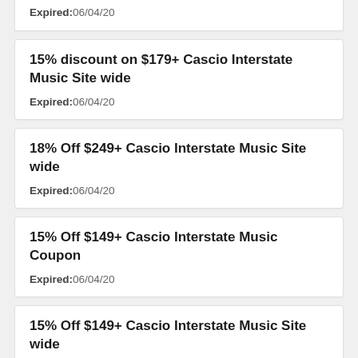Expired:06/04/20
15% discount on $179+ Cascio Interstate Music Site wide
Expired:06/04/20
18% Off $249+ Cascio Interstate Music Site wide
Expired:06/04/20
15% Off $149+ Cascio Interstate Music Coupon
Expired:06/04/20
15% Off $149+ Cascio Interstate Music Site wide
Expired:06/04/20
12% Off on $99+ Orders with Cascio Interstate Music Coupon Code